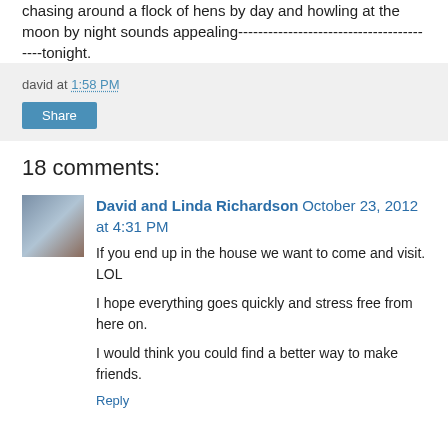chasing around a flock of hens by day and howling at the moon by night sounds appealing-----------------------------------------tonight.
david at 1:58 PM
Share
18 comments:
David and Linda Richardson October 23, 2012 at 4:31 PM
If you end up in the house we want to come and visit. LOL
I hope everything goes quickly and stress free from here on.
I would think you could find a better way to make friends.
Reply